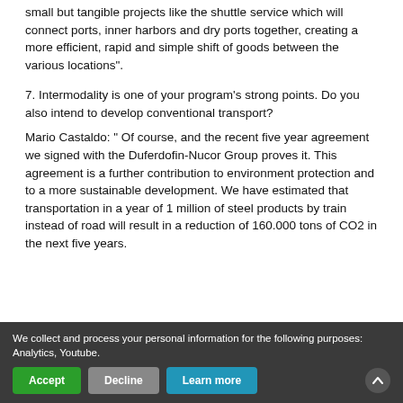small but tangible projects like the shuttle service which will connect ports, inner harbors and dry ports together, creating a more efficient, rapid and simple shift of goods between the various locations”.
7. Intermodality is one of your program’s strong points. Do you also intend to develop conventional transport?
Mario Castaldo: “ Of course, and the recent five year agreement we signed with the Duferdofin-Nucor Group proves it. This agreement is a further contribution to environment protection and to a more sustainable development. We have estimated that transportation in a year of 1 million of steel products by train instead of road will result in a reduction of 160.000 tons of CO2 in the next five years.
We collect and process your personal information for the following purposes: Analytics, Youtube.
Accept
Decline
Learn more